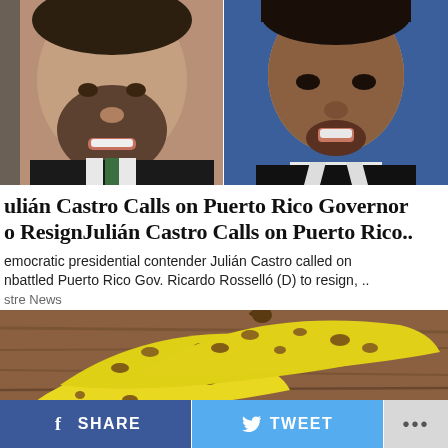[Figure (photo): Split photo: left side shows a bearded man in a suit with a green tie; right side shows another man speaking against a blue background.]
ulián Castro Calls on Puerto Rico Governor o ResignJulián Castro Calls on Puerto Rico..
emocratic presidential contender Julián Castro called on nbattled Puerto Rico Gov. Ricardo Rosselló (D) to resign, ..
stre News
[Figure (photo): Close-up photo of ripe, spotted bananas on a wooden surface.]
f SHARE   TWEET  ...